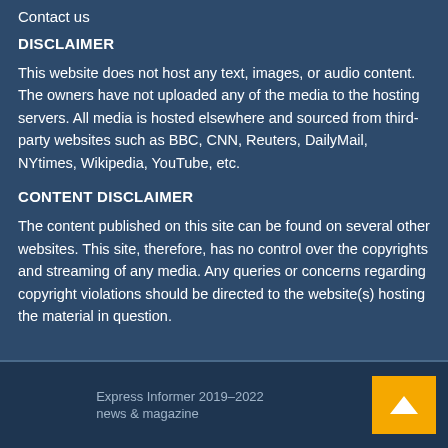Contact us
DISCLAIMER
This website does not host any text, images, or audio content. The owners have not uploaded any of the media to the hosting servers. All media is hosted elsewhere and sourced from third-party websites such as BBC, CNN, Reuters, DailyMail, NYtimes, Wikipedia, YouTube, etc.
CONTENT DISCLAIMER
The content published on this site can be found on several other websites. This site, therefore, has no control over the copyrights and streaming of any media. Any queries or concerns regarding copyright violations should be directed to the website(s) hosting the material in question.
Express Informer 2019–2022
news & magazine